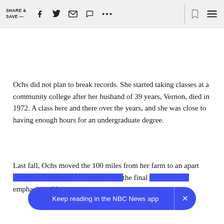SHARE & SAVE —  [social icons: facebook, twitter, email, message, more, bookmark, menu]
Ochs did not plan to break records. She started taking classes at a community college after her husband of 39 years, Vernon, died in 1972. A class here and there over the years, and she was close to having enough hours for an undergraduate degree.
Last fall, Ochs moved the 100 miles from her farm to an apart… the final … emphasis on history.
Keep reading in the NBC News app  ×